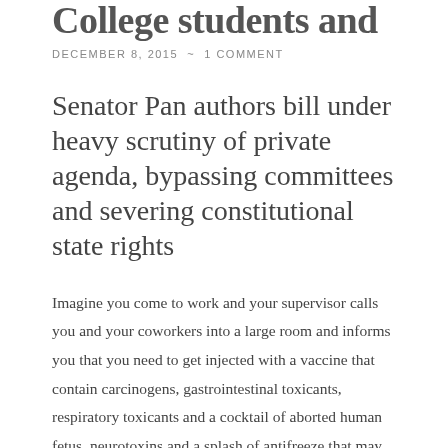College students and
DECEMBER 8, 2015  ~  1 COMMENT
Senator Pan authors bill under heavy scrutiny of private agenda, bypassing committees and severing constitutional state rights
Imagine you come to work and your supervisor calls you and your coworkers into a large room and informs you that you need to get injected with a vaccine that contain carcinogens, gastrointestinal toxicants, respiratory toxicants and a cocktail of aborted human fetus, neurotoxins and a splash of antifreeze that may or may not cause you to stop breathing depending on your